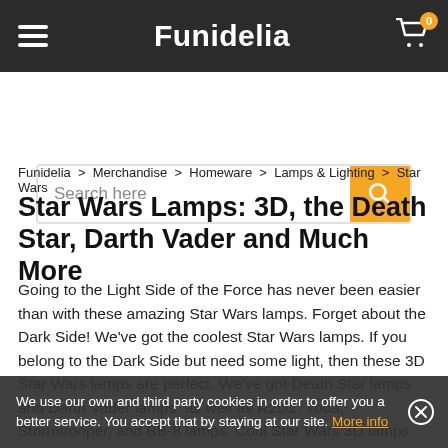Funidelia
Search here
Funidelia > Merchandise > Homeware > Lamps & Lighting > Star Wars
Star Wars Lamps: 3D, the Death Star, Darth Vader and Much More
Going to the Light Side of the Force has never been easier than with these amazing Star Wars lamps. Forget about the Dark Side! We've got the coolest Star Wars lamps. If you belong to the Dark Side but need some light, then these 3D Star Wars lamps are perfect. We've got Death Star lamps and Darth Vader lamps, as well as R2D2, Yoda, Stormtrooper, and BB-8 lamps. Cool Star Wars 3D lamps and wall lights that'll leave the whole galaxy in shadow. It's as if they're coming out of the wall. We also have some amazing R2D2 lamps. But these are just some of the more eye-catching Star Wars lamps we...
We use our own and third party cookies in order to offer you a better service. You accept that by staying at our site. More info